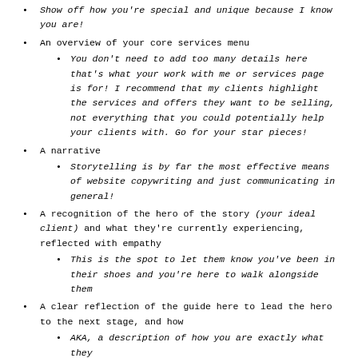Show off how you're special and unique because I know you are!
An overview of your core services menu
You don't need to add too many details here   that's what your work with me or services page is for! I recommend that my clients highlight the services and offers they want to be selling, not everything that you could potentially help your clients with. Go for your star pieces!
A narrative
Storytelling is by far the most effective means of website copywriting and just communicating in general!
A recognition of the hero of the story (your ideal client) and what they're currently experiencing, reflected with empathy
This is the spot to let them know you've been in their shoes and you're here to walk alongside them
A clear reflection of the guide here to lead the hero to the next stage, and how
AKA, a description of how you are exactly what they